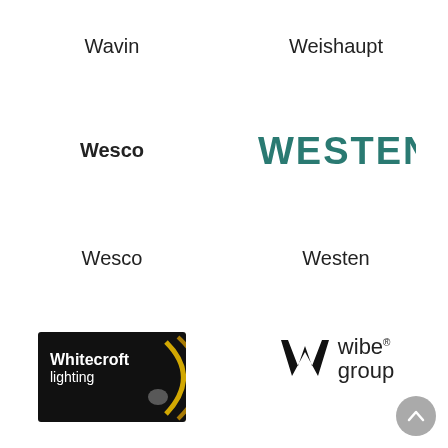Wavin
Weishaupt
[Figure (logo): Wesco bold text logo]
[Figure (logo): WESTEN teal stylized text logo]
Wesco
Westen
[Figure (logo): Whitecroft lighting logo — white text on black background with gold arc lines]
[Figure (logo): Wibe group logo — bold W mark followed by 'wibe group' text with registered trademark symbol]